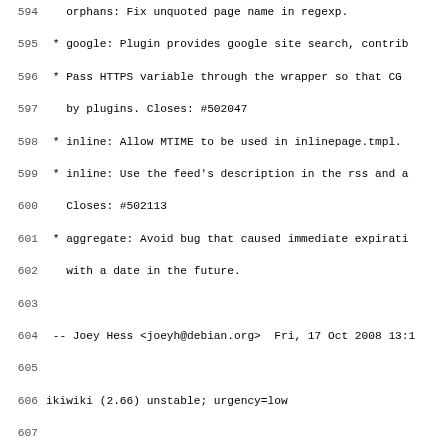Code/changelog listing, lines 594-626, showing ikiwiki changelog entries for versions around 2.66, including bug fixes for orphans, google plugin, HTTPS, inline, aggregate, recentchanges, attachment, git, tag, template, htmlscrubber, htmltidy and other plugins.